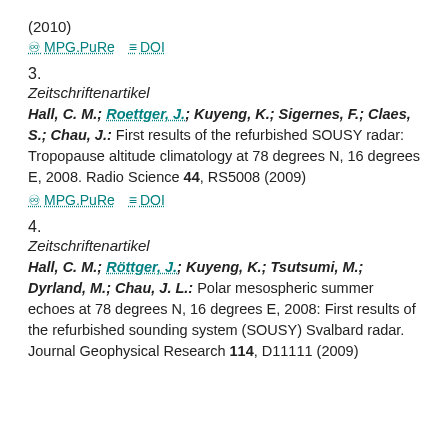(2010)
⊙ MPG.PuRe   ≡ DOI
3.
Zeitschriftenartikel
Hall, C. M.; Roettger, J.; Kuyeng, K.; Sigernes, F.; Claes, S.; Chau, J.: First results of the refurbished SOUSY radar: Tropopause altitude climatology at 78 degrees N, 16 degrees E, 2008. Radio Science 44, RS5008 (2009)
⊙ MPG.PuRe   ≡ DOI
4.
Zeitschriftenartikel
Hall, C. M.; Röttger, J.; Kuyeng, K.; Tsutsumi, M.; Dyrland, M.; Chau, J. L.: Polar mesospheric summer echoes at 78 degrees N, 16 degrees E, 2008: First results of the refurbished sounding system (SOUSY) Svalbard radar. Journal Geophysical Research 114, D11111 (2009)